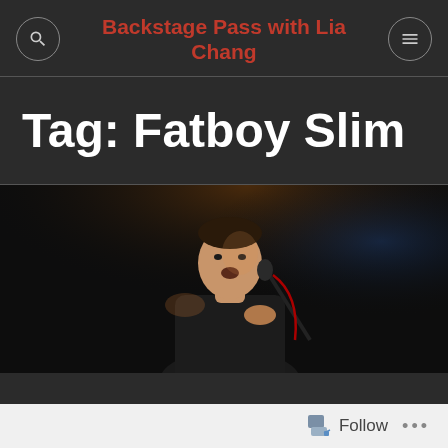Backstage Pass with Lia Chang
Tag: Fatboy Slim
[Figure (photo): A performer singing into a microphone on a dark stage, wearing a black outfit, lit with warm orange and blue stage lighting.]
Follow ...